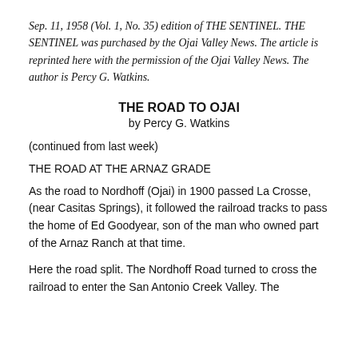Sep. 11, 1958 (Vol. 1, No. 35) edition of THE SENTINEL. THE SENTINEL was purchased by the Ojai Valley News. The article is reprinted here with the permission of the Ojai Valley News. The author is Percy G. Watkins.
THE ROAD TO OJAI
by Percy G. Watkins
(continued from last week)
THE ROAD AT THE ARNAZ GRADE
As the road to Nordhoff (Ojai) in 1900 passed La Crosse, (near Casitas Springs), it followed the railroad tracks to pass the home of Ed Goodyear, son of the man who owned part of the Arnaz Ranch at that time.
Here the road split. The Nordhoff Road turned to cross the railroad to enter the San Antonio Creek Valley. The